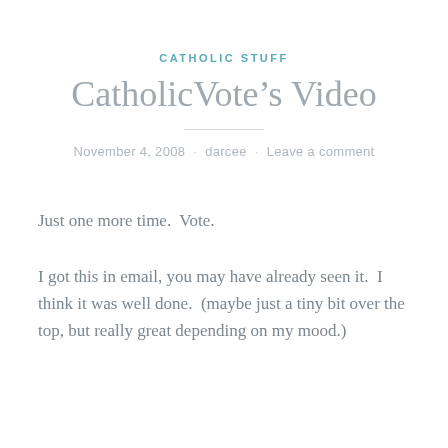CATHOLIC STUFF
CatholicVote’s Video
November 4, 2008 · darcee · Leave a comment
Just one more time.  Vote.
I got this in email, you may have already seen it.  I think it was well done.  (maybe just a tiny bit over the top, but really great depending on my mood.)